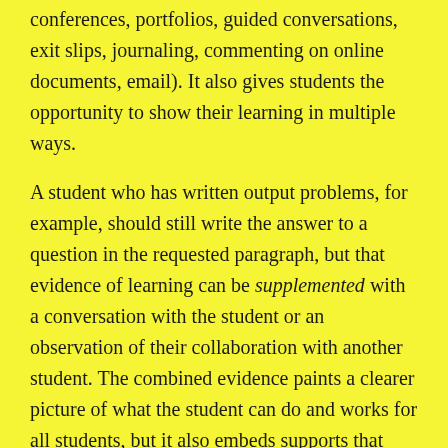conferences, portfolios, guided conversations, exit slips, journaling, commenting on online documents, email). It also gives students the opportunity to show their learning in multiple ways.
A student who has written output problems, for example, should still write the answer to a question in the requested paragraph, but that evidence of learning can be supplemented with a conversation with the student or an observation of their collaboration with another student. The combined evidence paints a clearer picture of what the student can do and works for all students, but it also embeds supports that most students need on a daily basis.
In the past, one way of showing learning has been